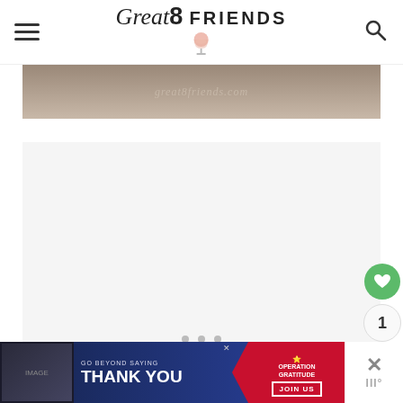Great8 FRIENDS
[Figure (photo): Close-up photo of a white plate or dish with watermark text 'great8friends.com']
[Figure (other): Gray advertisement placeholder block with three dot indicators at the bottom]
[Figure (infographic): Bottom advertisement banner: GO BEYOND SAYING THANK YOU - Operation Gratitude JOIN US]
[Figure (other): Right side overlay icons area with X close button and temperature/degree icon]